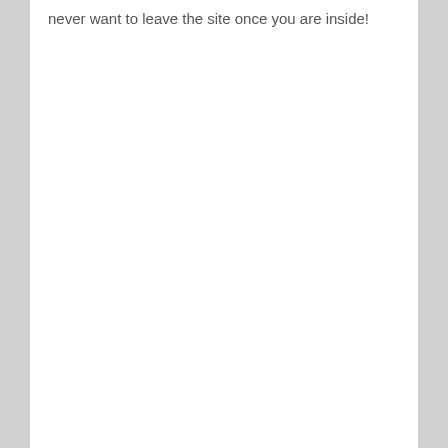never want to leave the site once you are inside!